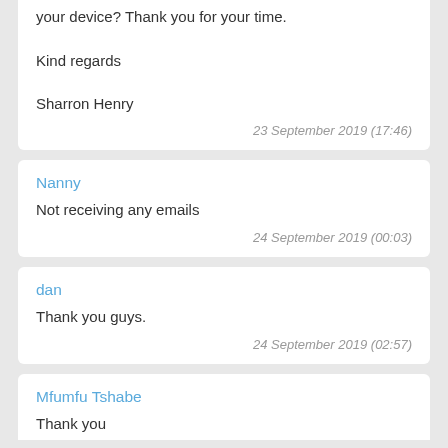your device? Thank you for your time.

Kind regards

Sharron Henry
23 September 2019 (17:46)
Nanny
Not receiving any emails
24 September 2019 (00:03)
dan
Thank you guys.
24 September 2019 (02:57)
Mfumfu Tshabe
Thank you